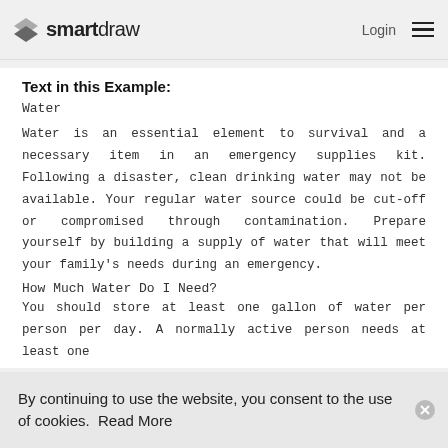smartdraw   Login ☰
Text in this Example:
Water
Water is an essential element to survival and a necessary item in an emergency supplies kit. Following a disaster, clean drinking water may not be available. Your regular water source could be cut-off or compromised through contamination. Prepare yourself by building a supply of water that will meet your family's needs during an emergency.
How Much Water Do I Need?
You should store at least one gallon of water per person per day. A normally active person needs at least one
By continuing to use the website, you consent to the use of cookies.  Read More